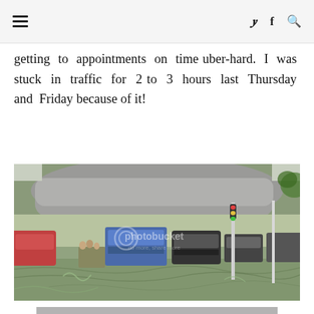≡   𝕏 f 🔍
getting to appointments on time uber-hard. I was stuck in traffic for 2 to 3 hours last Thursday and Friday because of it!
[Figure (photo): Flooded street with vehicles including a blue jeepney and other cars wading through deep floodwater, with an overpass structure visible above and traffic lights/poles in the background. Photobucket watermark visible.]
[Figure (photo): Partial view of a second photo at the bottom of the page, content mostly cut off.]